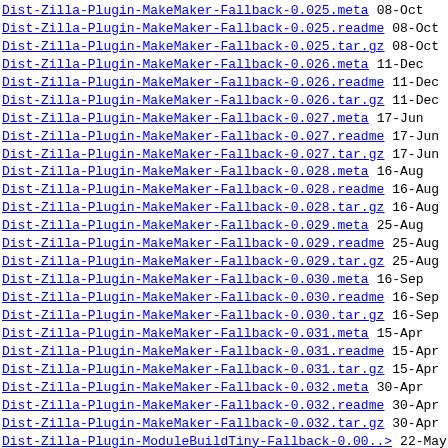Dist-Zilla-Plugin-MakeMaker-Fallback-0.025.meta   08-Oct
Dist-Zilla-Plugin-MakeMaker-Fallback-0.025.readme   08-Oct
Dist-Zilla-Plugin-MakeMaker-Fallback-0.025.tar.gz   08-Oct
Dist-Zilla-Plugin-MakeMaker-Fallback-0.026.meta   11-Dec
Dist-Zilla-Plugin-MakeMaker-Fallback-0.026.readme   11-Dec
Dist-Zilla-Plugin-MakeMaker-Fallback-0.026.tar.gz   11-Dec
Dist-Zilla-Plugin-MakeMaker-Fallback-0.027.meta   17-Jun
Dist-Zilla-Plugin-MakeMaker-Fallback-0.027.readme   17-Jun
Dist-Zilla-Plugin-MakeMaker-Fallback-0.027.tar.gz   17-Jun
Dist-Zilla-Plugin-MakeMaker-Fallback-0.028.meta   16-Aug
Dist-Zilla-Plugin-MakeMaker-Fallback-0.028.readme   16-Aug
Dist-Zilla-Plugin-MakeMaker-Fallback-0.028.tar.gz   16-Aug
Dist-Zilla-Plugin-MakeMaker-Fallback-0.029.meta   25-Aug
Dist-Zilla-Plugin-MakeMaker-Fallback-0.029.readme   25-Aug
Dist-Zilla-Plugin-MakeMaker-Fallback-0.029.tar.gz   25-Aug
Dist-Zilla-Plugin-MakeMaker-Fallback-0.030.meta   16-Sep
Dist-Zilla-Plugin-MakeMaker-Fallback-0.030.readme   16-Sep
Dist-Zilla-Plugin-MakeMaker-Fallback-0.030.tar.gz   16-Sep
Dist-Zilla-Plugin-MakeMaker-Fallback-0.031.meta   15-Apr
Dist-Zilla-Plugin-MakeMaker-Fallback-0.031.readme   15-Apr
Dist-Zilla-Plugin-MakeMaker-Fallback-0.031.tar.gz   15-Apr
Dist-Zilla-Plugin-MakeMaker-Fallback-0.032.meta   30-Apr
Dist-Zilla-Plugin-MakeMaker-Fallback-0.032.readme   30-Apr
Dist-Zilla-Plugin-MakeMaker-Fallback-0.032.tar.gz   30-Apr
Dist-Zilla-Plugin-ModuleBuildTiny-Fallback-0.00..>   22-May
Dist-Zilla-Plugin-ModuleBuildTiny-Fallback-0.00..>   22-May
Dist-Zilla-Plugin-ModuleBuildTiny-Fallback-0.00..>   22-May
Dist-Zilla-Plugin-ModuleBuildTiny-Fallback-0.00..>   23-May
Dist-Zilla-Plugin-ModuleBuildTiny-Fallback-0.00..>   23-May
Dist-Zilla-Plugin-ModuleBuildTiny-Fallback-0.00..>   23-May